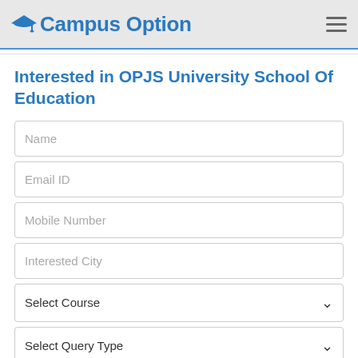Campus Option
Interested in OPJS University School Of Education
Name
Email ID
Mobile Number
Interested City
Select Course
Select Query Type
Query